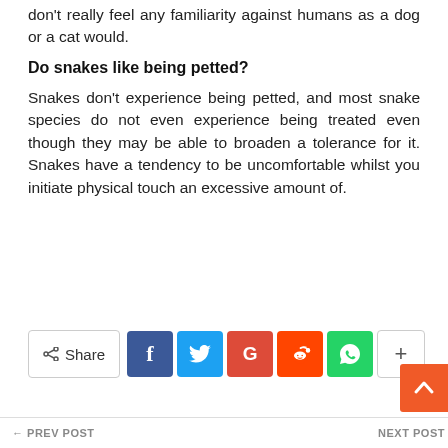don't really feel any familiarity against humans as a dog or a cat would.
Do snakes like being petted?
Snakes don't experience being petted, and most snake species do not even experience being treated even though they may be able to broaden a tolerance for it. Snakes have a tendency to be uncomfortable whilst you initiate physical touch an excessive amount of.
[Figure (infographic): Social share bar with Share button, Facebook, Twitter, Google+, Reddit, WhatsApp, and more (+) buttons]
[Figure (infographic): Orange scroll-to-top button with up arrow]
← PREV POST    NEXT POST →